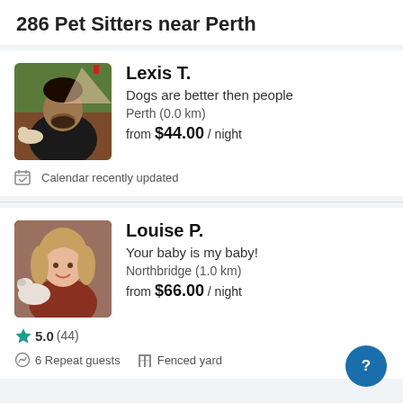286 Pet Sitters near Perth
Lexis T.
Dogs are better then people
Perth (0.0 km)
from $44.00 / night
Calendar recently updated
Louise P.
Your baby is my baby!
Northbridge (1.0 km)
from $66.00 / night
5.0 (44)
6 Repeat guests   Fenced yard